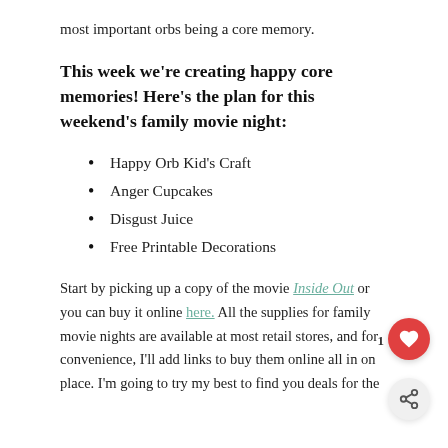most important orbs being a core memory.
This week we're creating happy core memories! Here's the plan for this weekend's family movie night:
Happy Orb Kid's Craft
Anger Cupcakes
Disgust Juice
Free Printable Decorations
Start by picking up a copy of the movie Inside Out or you can buy it online here. All the supplies for family movie nights are available at most retail stores, and for convenience, I'll add links to buy them online all in one place. I'm going to try my best to find you deals for the